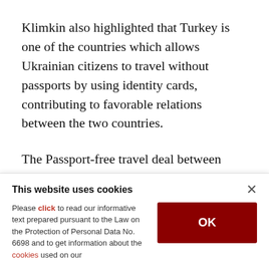Klimkin also highlighted that Turkey is one of the countries which allows Ukrainian citizens to travel without passports by using identity cards, contributing to favorable relations between the two countries.
The Passport-free travel deal between Turkey and Ukraine entered into force in June 1, 2017.
The two countries' citizens can go in and out,
This website uses cookies
Please click to read our informative text prepared pursuant to the Law on the Protection of Personal Data No. 6698 and to get information about the cookies used on our